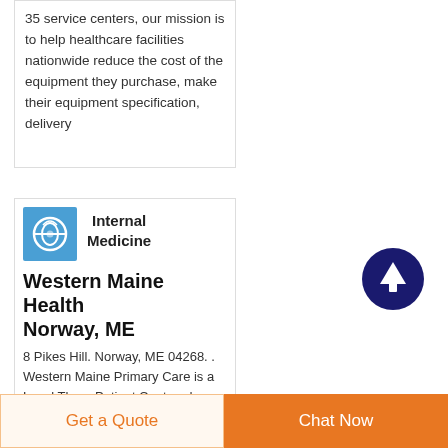35 service centers, our mission is to help healthcare facilities nationwide reduce the cost of the equipment they purchase, make their equipment specification, delivery
[Figure (logo): Blue square logo with circular medical/lens icon]
Internal Medicine
Western Maine Health Norway, ME
8 Pikes Hill. Norway, ME 04268. . Western Maine Primary Care is a Level Three Patient Centered Medical
[Figure (other): Dark navy blue circle with white upward arrow icon (scroll to top button)]
Get a Quote
Chat Now